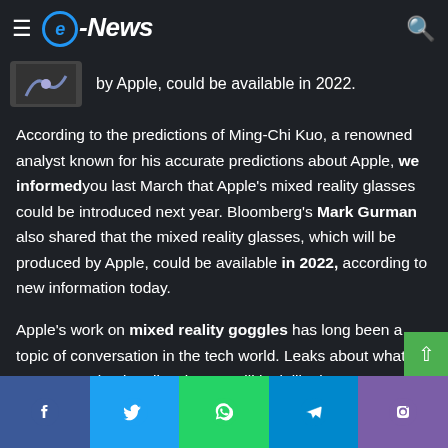e-News
by Apple, could be available in 2022.
According to the predictions of Ming-Chi Kuo, a renowned analyst known for his accurate predictions about Apple, we informed you last March that Apple's mixed reality glasses could be introduced next year. Bloomberg's Mark Gurman also shared that the mixed reality glasses, which will be produced by Apple, could be available in 2022, according to new information today.
Apple's work on mixed reality goggles has long been a topic of conversation in the tech world. Leaks about what the prototype mixed reality glasses will look like in 2020
Facebook | Twitter | WhatsApp | Telegram | Phone